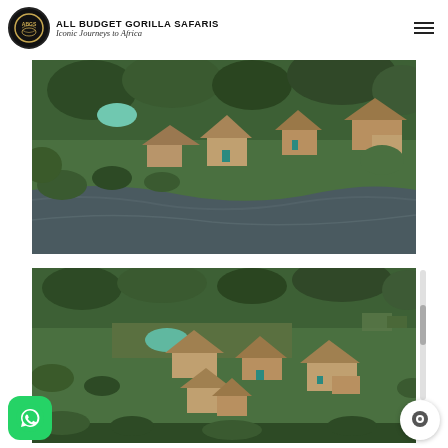ALL BUDGET GORILLA SAFARIS — Iconic Journeys to Africa
[Figure (photo): Aerial view of safari lodge with thatched-roof chalets surrounded by lush green trees and vegetation beside a river or lake with dark water]
[Figure (photo): Aerial view of a safari lodge complex with multiple thatched-roof buildings set among dense green trees and bushland, with a pool visible, similar angle to the first photo]